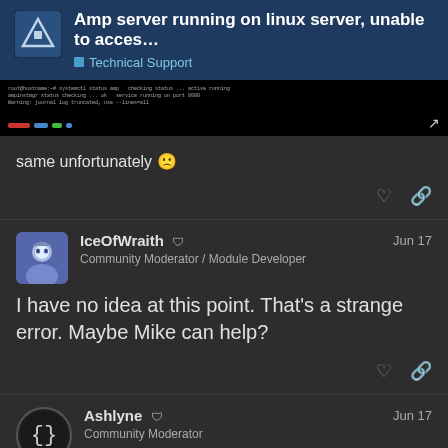Amp server running on linux server, unable to acces... | Technical Support
[Figure (screenshot): Terminal/console screenshot showing command output on black background with colored status bars at bottom]
same unfortunately 😟
IceOfWraith 🛡 Community Moderator / Module Developer | Jun 17
I have no idea at this point. That's a strange error. Maybe Mike can help?
Ashlyne 🛡 Community Moderator | Jun 17
are you directly connecting via the amp u
-l amp
11 / 39